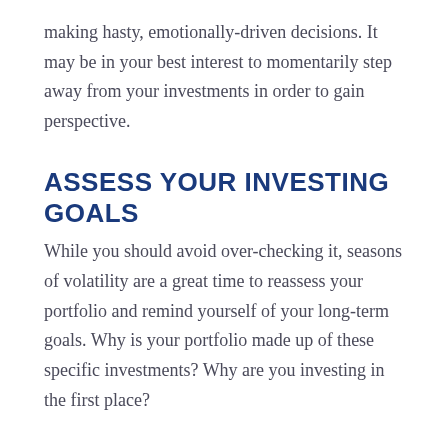making hasty, emotionally-driven decisions. It may be in your best interest to momentarily step away from your investments in order to gain perspective.
ASSESS YOUR INVESTING GOALS
While you should avoid over-checking it, seasons of volatility are a great time to reassess your portfolio and remind yourself of your long-term goals. Why is your portfolio made up of these specific investments? Why are you investing in the first place?